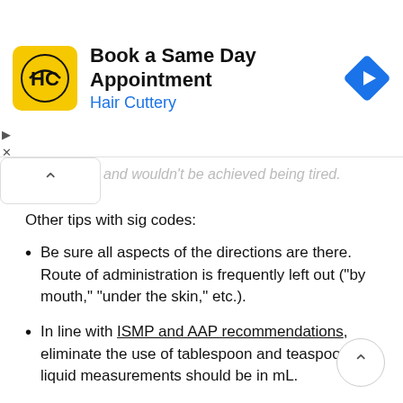[Figure (other): Hair Cuttery advertisement banner: yellow square logo with HC text, title 'Book a Same Day Appointment', subtitle 'Hair Cuttery' in blue, blue diamond navigation icon on right]
and wouldn't be achieved being tired.
Other tips with sig codes:
Be sure all aspects of the directions are there. Route of administration is frequently left out ("by mouth," "under the skin," etc.).
In line with ISMP and AAP recommendations, eliminate the use of tablespoon and teaspoon. All liquid measurements should be in mL.
Avoid provider-specific codes